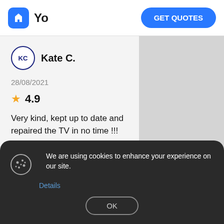Yo  GET QUOTES
Kate C.
28/08/2021
4.9
Very kind, kept up to date and repaired the TV in no time !!!
We are using cookies to enhance your experience on our site.
Details
OK